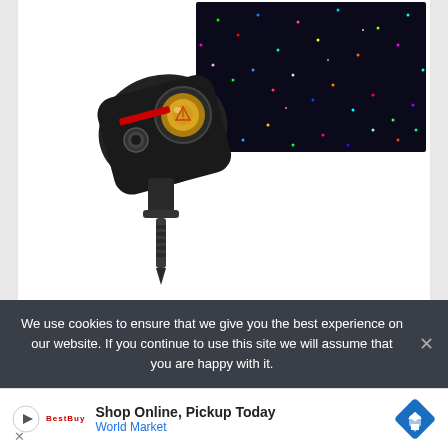[Figure (photo): A black laser projector device (Moving Firefly LedMall RGB outdoor garden laser) with a tripod/stake mount, shown against a dark background with colorful star-like laser dots projected.]
The Moving Firefly LedMall RGB outdoor garden laser Christmas lights are your cue to trust technology and updated features for the little joys of your life.
With cutting-edge laser and holographic technologies, it is one of the best Christmas light projectors for your house.
We use cookies to ensure that we give you the best experience on our website. If you continue to use this site we will assume that you are happy with it.
[Figure (other): Advertisement banner: Shop Online, Pickup Today - World Market]